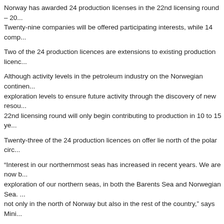Norway has awarded 24 production licenses in the 22nd licensing round – 20... Twenty-nine companies will be offered participating interests, while 14 comp...
Two of the 24 production licences are extensions to existing production licenc...
Although activity levels in the petroleum industry on the Norwegian continen... exploration levels to ensure future activity through the discovery of new resou... 22nd licensing round will only begin contributing to production in 10 to 15 ye...
Twenty-three of the 24 production licences on offer lie north of the polar circ...
“Interest in our northernmost seas has increased in recent years. We are now b... exploration of our northern seas, in both the Barents Sea and Norwegian Sea. ... not only in the north of Norway but also in the rest of the country,” says Mini...
The 22nd licensing round was announced on 26 June 2012, and comprised 86... the application deadline on 4 December 2012, 36 companies had applied for p...
NOIA 2013; Play on the Edge
14 June 2013
NOIA 2013; Play on the Edge
June 17 – 20, St John’s Newfoundland
NOIA’s, Newfoundland & Labrador Oil & Gas Industries Association, annua... with over 1,100 delegates and speakers expected to attend. The focus of this y... offshore east coast Canada and how the region can get further involved in sup... from the Deepwater Horizon accident and subsequent response will also be d...